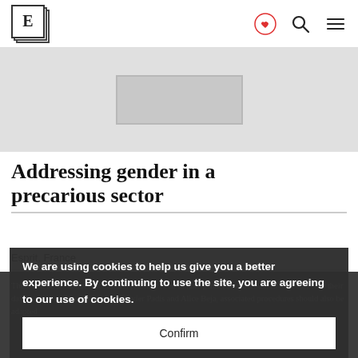E [logo]
[Figure (illustration): Banner/hero image placeholder — grey rectangle with lighter inner rectangle outline]
Addressing gender in a precarious sector
Esprit, France
There can be no doubt that cultural journals need to take gender into account in the context of their daily activities. But, write Marc-Olivier Padis and Alice Beja, associated procedures should also be adapted
We are using cookies to help us give you a better experience. By continuing to use the site, you are agreeing to our use of cookies.
Confirm